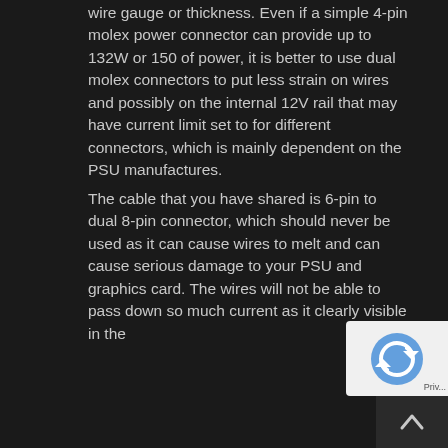wire gauge or thickness. Even if a simple 4-pin molex power connector can provide up to 132W or 150 of power, it is better to use dual molex connectors to put less strain on wires and possibly on the internal 12V rail that may have current limit set to for different connectors, which is mainly dependent on the PSU manufactures.
The cable that you have shared is 6-pin to dual 8-pin connector, which should never be used as it can cause wires to melt and can cause serious damage to your PSU and graphics card. The wires will not be able to pass down so much current as it clearly visible in the